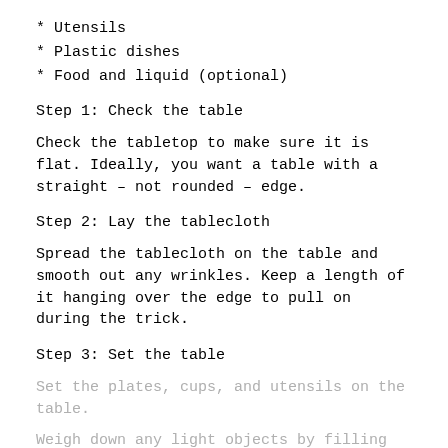* Utensils
* Plastic dishes
* Food and liquid (optional)
Step 1: Check the table
Check the tabletop to make sure it is flat. Ideally, you want a table with a straight – not rounded – edge.
Step 2: Lay the tablecloth
Spread the tablecloth on the table and smooth out any wrinkles. Keep a length of it hanging over the edge to pull on during the trick.
Step 3: Set the table
Set the plates, cups, and utensils on the table.
Weigh down any light objects by filling them with food or liquid.